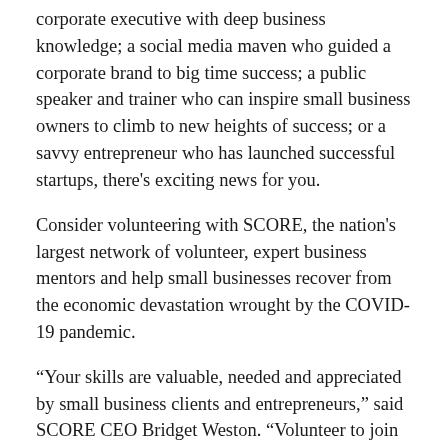corporate executive with deep business knowledge; a social media maven who guided a corporate brand to big time success; a public speaker and trainer who can inspire small business owners to climb to new heights of success; or a savvy entrepreneur who has launched successful startups, there's exciting news for you.
Consider volunteering with SCORE, the nation's largest network of volunteer, expert business mentors and help small businesses recover from the economic devastation wrought by the COVID-19 pandemic.
“Your skills are valuable, needed and appreciated by small business clients and entrepreneurs,” said SCORE CEO Bridget Weston. “Volunteer to join our community of more than 10,000 volunteers in 1,500 communities. You’ll find a wealth of support and build back small business where you live.”
Only about a third of small business owners reported turning a profit in 2020. Black and Hispanic-owned small...